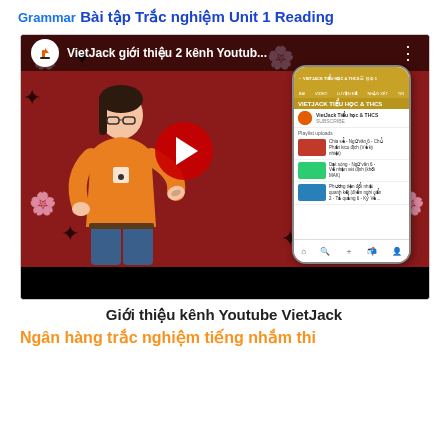Grammar
Bài tập Trắc nghiệm Unit 1 Reading
[Figure (screenshot): YouTube video thumbnail showing a woman in orange shirt presenting in front of a red floral background, with a phone mockup showing VietJack YouTube channel, and a red play button overlay. Title: VietJack giới thiệu 2 kênh Youtub...]
Giới thiệu kênh Youtube VietJack
Ngân hàng trắc nghiệm tiếng nhắm thi